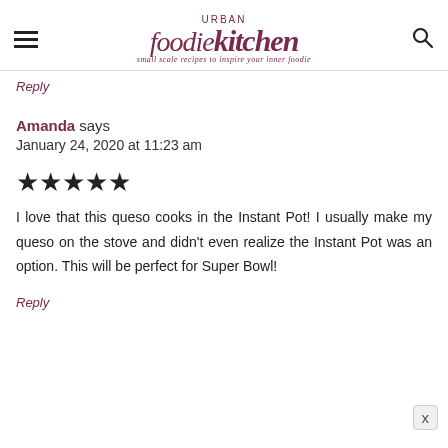Urban foodie kitchen — small scale recipes to inspire your inner foodie
Reply
Amanda says
January 24, 2020 at 11:23 am
[Figure (other): 5 filled star rating icons]
I love that this queso cooks in the Instant Pot! I usually make my queso on the stove and didn't even realize the Instant Pot was an option. This will be perfect for Super Bowl!
Reply